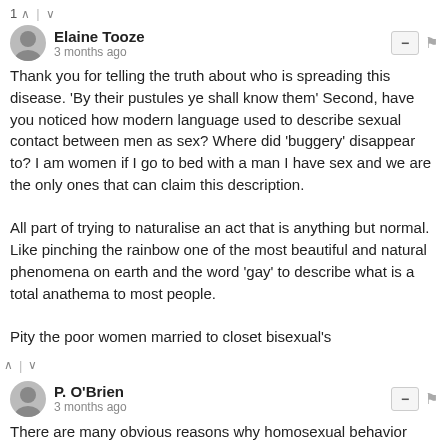1 ∧ | ∨
Elaine Tooze
3 months ago
Thank you for telling the truth about who is spreading this disease. 'By their pustules ye shall know them' Second, have you noticed how modern language used to describe sexual contact between men as sex? Where did 'buggery' disappear to? I am women if I go to bed with a man I have sex and we are the only ones that can claim this description.

All part of trying to naturalise an act that is anything but normal. Like pinching the rainbow one of the most beautiful and natural phenomena on earth and the word 'gay' to describe what is a total anathema to most people.

Pity the poor women married to closet bisexual's
∧ | ∨
P. O'Brien
3 months ago
There are many obvious reasons why homosexual behavior